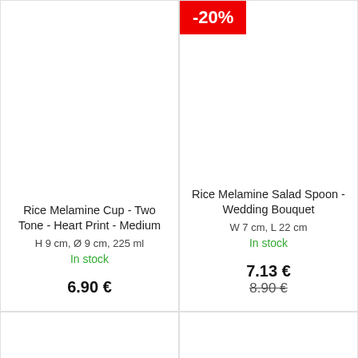[Figure (other): Product image area for Rice Melamine Cup - Two Tone - Heart Print - Medium (blank/white image area)]
Rice Melamine Cup - Two Tone - Heart Print - Medium
H 9 cm, Ø 9 cm, 225 ml
In stock
6.90 €
[Figure (other): Product image area for Rice Melamine Salad Spoon - Wedding Bouquet (blank/white image area) with -20% discount badge]
-20%
Rice Melamine Salad Spoon - Wedding Bouquet
W 7 cm, L 22 cm
In stock
7.13 €
8.90 €
[Figure (other): Bottom left product card (blank/white, partially visible)]
[Figure (other): Bottom right product card (blank/white, partially visible) with scroll-to-top button]